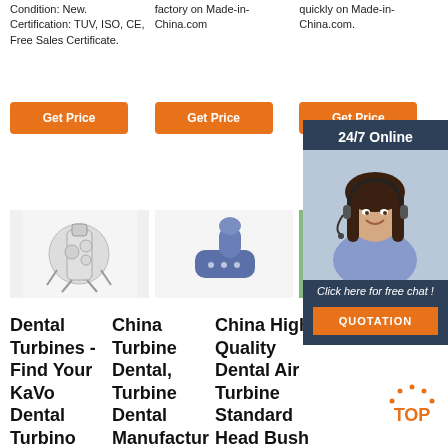Condition: New. Certification: TUV, ISO, CE, Free Sales Certificate.
factory on Made-in-China.com
quickly on Made-in-China.com.
Get Price
Get Price
Get Price
[Figure (photo): Dental turbine / surgical microscope product photo on white background]
[Figure (photo): Blue dental turbine / handpiece product photo on white background]
[Figure (photo): Partial product photo, green background]
Dental Turbines - Find Your KaVo Dental Turbino
China Turbine Dental, Turbine Dental Manufactur
China High Quality Dental Air Turbine Standard Head Bush
[Figure (infographic): 24/7 Online chat widget with female customer service agent photo, 'Click here for free chat!' text, and QUOTATION button]